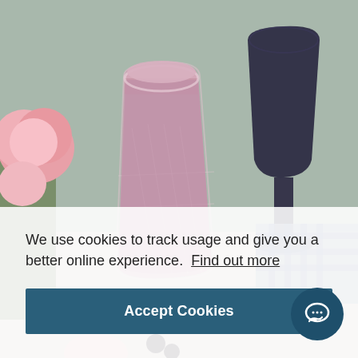[Figure (photo): Photo of two smoothie drinks in decorative glasses on a table, with pink ranunculus flowers on the left. The front glass is a cut crystal tumbler with a pinkish-purple berry smoothie, and behind it is a dark navy goblet with a deep purple smoothie. A blue gingham cloth is visible in the background.]
We use cookies to track usage and give you a better online experience.  Find out more
Accept Cookies